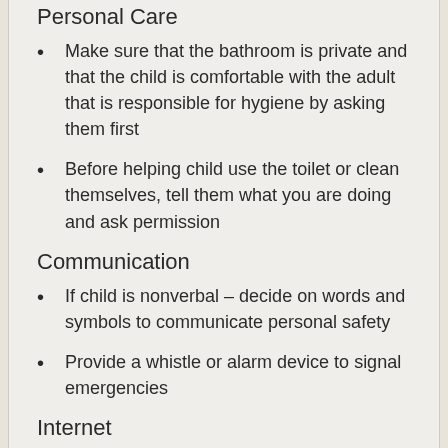Personal Care
Make sure that the bathroom is private and that the child is comfortable with the adult that is responsible for hygiene by asking them first
Before helping child use the toilet or clean themselves, tell them what you are doing and ask permission
Communication
If child is nonverbal – decide on words and symbols to communicate personal safety
Provide a whistle or alarm device to signal emergencies
Internet
Have conversations about what is safe to